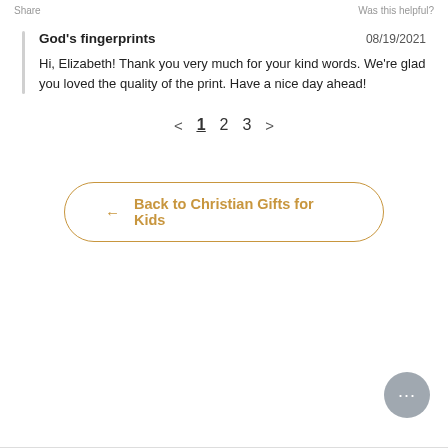Share   Was this helpful?
God's fingerprints
08/19/2021
Hi, Elizabeth! Thank you very much for your kind words. We're glad you loved the quality of the print. Have a nice day ahead!
< 1 2 3 >
← Back to Christian Gifts for Kids